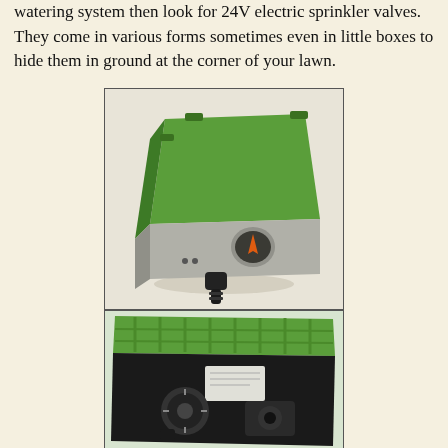watering system then look for 24V electric sprinkler valves. They come in various forms sometimes even in little boxes to hide them in ground at the corner of your lawn.
[Figure (photo): A green plastic box with gray bottom housing a 24V electric sprinkler valve, showing water connector fitting at bottom]
[Figure (photo): An open green plastic box lid revealing the interior mechanism of an underground sprinkler valve box]